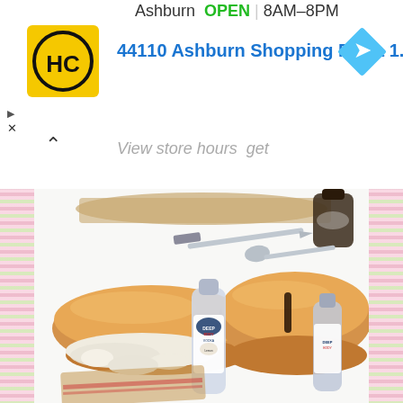Ashburn  OPEN | 8AM–8PM
[Figure (logo): HC (Hannaford or similar store) yellow square logo with HC initials in black circle]
44110 Ashburn Shopping Plaza 1.
[Figure (logo): Blue diamond-shaped navigation/directions icon with right-arrow]
View store hours  get
[Figure (photo): Food photography showing two toasted bread rolls/sandwiches with a small bottle of sauce (Deep Eddy or similar brand) placed between them, served on brown paper, with a knife and spoon visible in the upper portion of the image on a white background. Decorative floral border on left and right sides.]